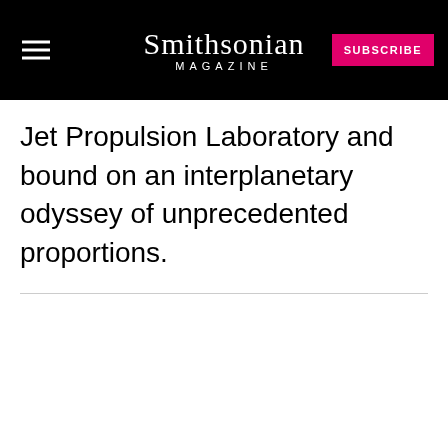Smithsonian MAGAZINE | SUBSCRIBE
Jet Propulsion Laboratory and bound on an interplanetary odyssey of unprecedented proportions.